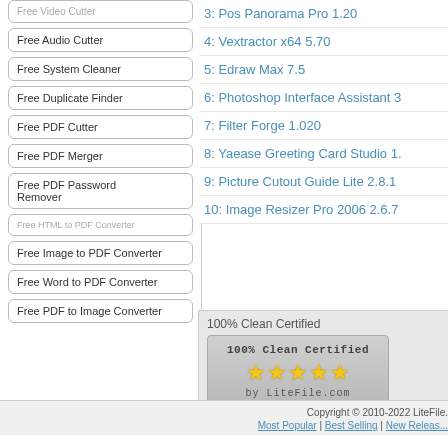Free Video Cutter
Free Audio Cutter
Free System Cleaner
Free Duplicate Finder
Free PDF Cutter
Free PDF Merger
Free PDF Password Remover
Free HTML to PDF Converter
Free Image to PDF Converter
Free Word to PDF Converter
Free PDF to Image Converter
3: Pos Panorama Pro 1.20
4: Vextractor x64 5.70
5: Edraw Max 7.5
6: Photoshop Interface Assistant 3
7: Filter Forge 1.020
8: Yaease Greeting Card Studio 1.
9: Picture Cutout Guide Lite 2.8.1
10: Image Resizer Pro 2006 2.6.7
100% Clean Certified
[Figure (logo): 100% Clean Certified badge with 5 stars by LiteFile.com]
Copyright © 2010-2022 LiteFile. | Most Popular | Best Selling | New Releases